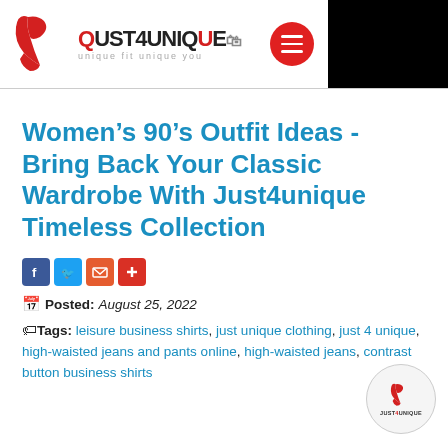[Figure (logo): Just4Unique logo with red stylized 'b' icon and text 'JUST4UNIQUE unique fit unique you', plus a red circle hamburger menu icon, and a black box in the top right corner]
Women's 90's Outfit Ideas - Bring Back Your Classic Wardrobe With Just4unique Timeless Collection
[Figure (infographic): Social sharing icons row: Facebook (blue), Twitter (blue), Email (orange), Plus/Add (red)]
📅 Posted: August 25, 2022
🏷️Tags: leisure business shirts, just unique clothing, just 4 unique, high-waisted jeans and pants online, high-waisted jeans, contrast button business shirts
[Figure (logo): Just4Unique small circular watermark logo at bottom right]